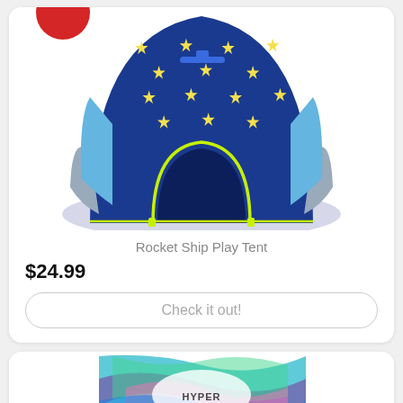[Figure (photo): Blue rocket ship play tent with yellow stars pattern and open door]
Rocket Ship Play Tent
$24.99
Check it out!
[Figure (photo): Colorful swirl patterned product box, partially visible at bottom of page]